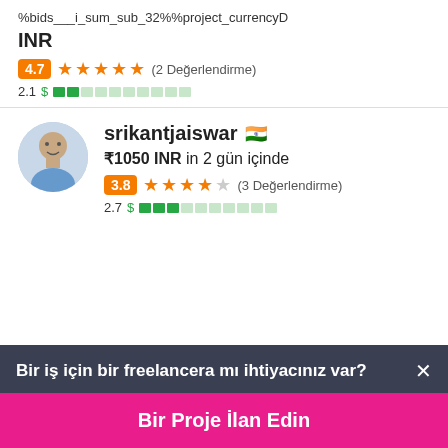%bids___i_sum_sub_32%%project_currencyD
INR
4.7 ★★★★★ (2 Değerlendirme)
2.1 $ ▓▓░░░░░░░░
srikantjaiswar 🇮🇳
₹1050 INR in 2 gün içinde
3.8 ★★★★☆ (3 Değerlendirme)
2.7 $ ▓▓▓░░░░░░░
Bir iş için bir freelancera mı ihtiyacınız var? ×
Bir Proje İlan Edin